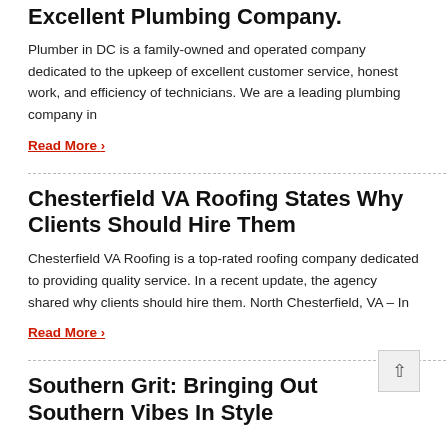Excellent Plumbing Company.
Plumber in DC is a family-owned and operated company dedicated to the upkeep of excellent customer service, honest work, and efficiency of technicians. We are a leading plumbing company in
Read More ›
Chesterfield VA Roofing States Why Clients Should Hire Them
Chesterfield VA Roofing is a top-rated roofing company dedicated to providing quality service. In a recent update, the agency shared why clients should hire them. North Chesterfield, VA – In
Read More ›
Southern Grit: Bringing Out Southern Vibes In Style